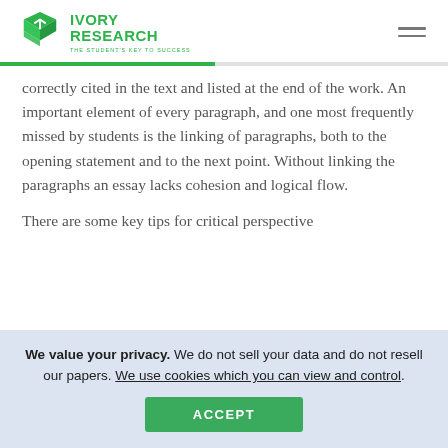[Figure (logo): Ivory Research logo with green cube icon and text 'IVORY RESEARCH - THE STUDENT'S KEY TO SUCCESS']
correctly cited in the text and listed at the end of the work. An important element of every paragraph, and one most frequently missed by students is the linking of paragraphs, both to the opening statement and to the next point. Without linking the paragraphs an essay lacks cohesion and logical flow.
There are some key tips for critical perspective
We value your privacy. We do not sell your data and do not resell our papers. We use cookies which you can view and control.